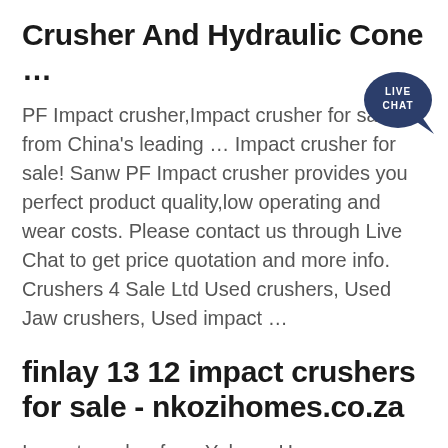Crusher And Hydraulic Cone …
[Figure (other): Live Chat speech bubble badge in dark navy blue, with text LIVE CHAT in white]
PF Impact crusher,Impact crusher for sale from China's leading … Impact crusher for sale! Sanw PF Impact crusher provides you perfect product quality,low operating and wear costs. Please contact us through Live Chat to get price quotation and more info. Crushers 4 Sale Ltd Used crushers, Used Jaw crushers, Used impact …
finlay 13 12 impact crushers for sale - nkozihomes.co.za
Impact crusher from Yuhang Heavy Industries, Co., Ltd. PF Series Impact Crusher. JBS PF Impact Crusher is used for primary, secondary and fine crushing of all kinds of stones and rocks with compressive strength